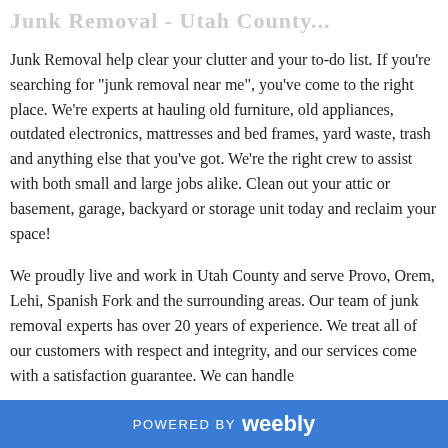Junk Removal - Utah County...
Junk Removal help clear your clutter and your to-do list. If you're searching for "junk removal near me", you've come to the right place. We're experts at hauling old furniture, old appliances, outdated electronics, mattresses and bed frames, yard waste, trash and anything else that you've got. We're the right crew to assist with both small and large jobs alike. Clean out your attic or basement, garage, backyard or storage unit today and reclaim your space!
We proudly live and work in Utah County and serve Provo, Orem, Lehi, Spanish Fork and the surrounding areas. Our team of junk removal experts has over 20 years of experience. We treat all of our customers with respect and integrity, and our services come with a satisfaction guarantee. We can handle
POWERED BY weebly